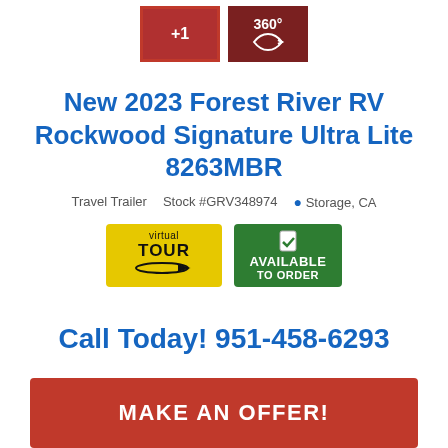[Figure (photo): Two thumbnail images of an RV interior: first thumbnail has red tinted interior with +1 overlay and is selected (red border); second thumbnail shows a 360° view icon]
New 2023 Forest River RV Rockwood Signature Ultra Lite 8263MBR
Travel Trailer   Stock #GRV348974   Storage, CA
[Figure (logo): Two badges: yellow 'virtual TOUR' badge with arrow icon, and green 'AVAILABLE TO ORDER' badge with checkmark icon]
Call Today! 951-458-6293
MAKE AN OFFER!